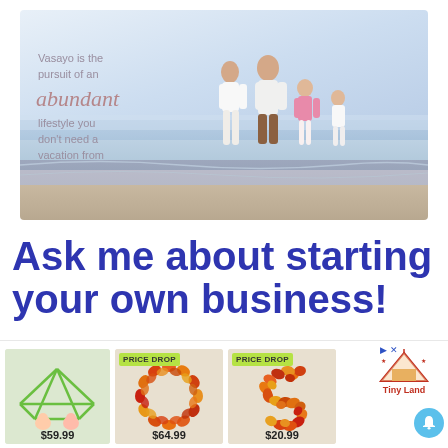[Figure (photo): Hero image with family of four walking on a beach. Text overlay reads: 'Vasayo is the pursuit of an abundant lifestyle you don't need a vacation from.']
Ask me about starting your own business!
[Figure (infographic): Ad strip showing three product thumbnails with prices: $59.99 (fort kit), $64.99 (leaf wreath O, PRICE DROP), $20.99 (leaf wreath S, PRICE DROP), and Tiny Land logo with notification button.]